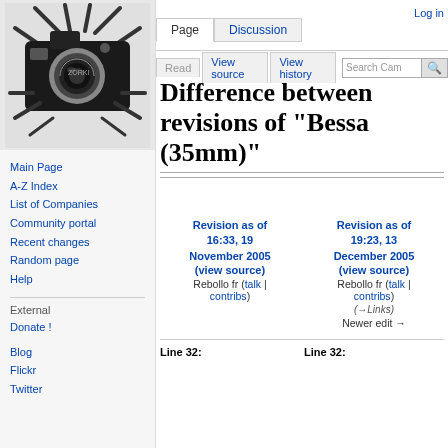[Figure (logo): Camera wiki logo showing a vintage black camera (Zorki) crossed with flash bars, on a light gray background]
Main Page
A-Z Index
List of Companies
Community portal
Recent changes
Random page
Help
External
Donate !
Blog
Flickr
Twitter
Log in
Difference between revisions of "Bessa (35mm)"
| Revision as of 16:33, 19 November 2005 | Revision as of 19:23, 13 December 2005 |
| --- | --- |
| (view source) | (view source) |
| Rebollo fr (talk | contribs) | Rebollo fr (talk | contribs) |
|  | (→Links) |
|  | Newer edit → |
Line 32:
Line 32: